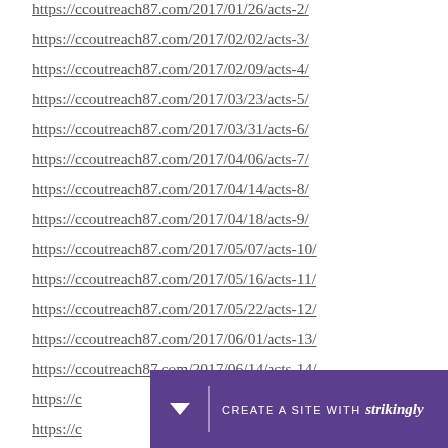https://ccoutreach87.com/2017/01/26/acts-2/
https://ccoutreach87.com/2017/02/02/acts-3/
https://ccoutreach87.com/2017/02/09/acts-4/
https://ccoutreach87.com/2017/03/23/acts-5/
https://ccoutreach87.com/2017/03/31/acts-6/
https://ccoutreach87.com/2017/04/06/acts-7/
https://ccoutreach87.com/2017/04/14/acts-8/
https://ccoutreach87.com/2017/04/18/acts-9/
https://ccoutreach87.com/2017/05/07/acts-10/
https://ccoutreach87.com/2017/05/16/acts-11/
https://ccoutreach87.com/2017/05/22/acts-12/
https://ccoutreach87.com/2017/06/01/acts-13/
https://ccoutreach87.com/2017/06/14/acts-14/
https://ccoutreach87.com/2017/…/acts-15/
https://ccoutreach87.com/2017/…/acts-16/
[Figure (other): Strikingly website builder banner with purple background, dropdown arrow, divider, and text 'CREATE A SITE WITH strikingly']